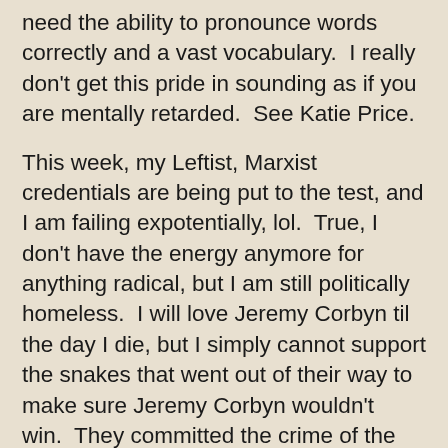need the ability to pronounce words correctly and a vast vocabulary.  I really don't get this pride in sounding as if you are mentally retarded.  See Katie Price.
This week, my Leftist, Marxist credentials are being put to the test, and I am failing expotentially, lol.  True, I don't have the energy anymore for anything radical, but I am still politically homeless.  I will love Jeremy Corbyn til the day I die, but I simply cannot support the snakes that went out of their way to make sure Jeremy Corbyn wouldn't win.  They committed the crime of the century, they enabled a government who wouldn't give a damn about a global pandemic.  How the f can I see any sort of socialist rescue of the masses, from the mememe antics of the Labour Right (yes, you Jess Phillips).  F*** the lot of you Labour 'leadership', you have betrayed oldies like me, but worse, you accursed wannabe tories, have betrayed the next generation and...